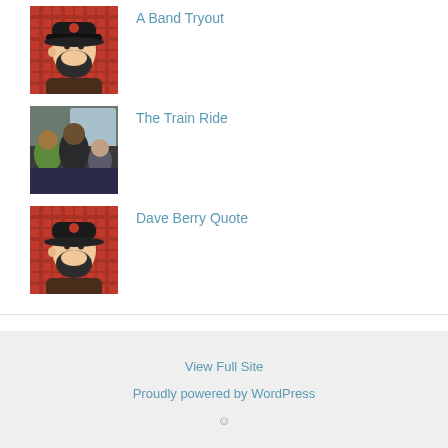[Figure (illustration): Cartoon illustration of a bearded man wearing a black cap, on a red plaid background]
A Band Tryout
[Figure (photo): Photo of people sitting on a train]
The Train Ride
[Figure (illustration): Cartoon illustration of a bearded man wearing a black cap, on a red plaid background]
Dave Berry Quote
View Full Site
Proudly powered by WordPress
☺